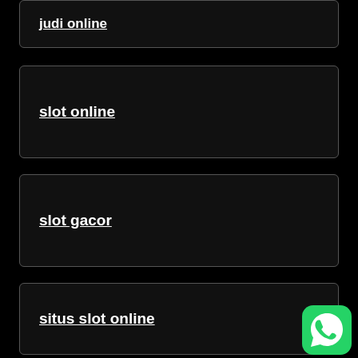judi online
slot online
slot gacor
situs slot online
slot gacor 2021
[Figure (logo): WhatsApp green icon button in bottom right corner]